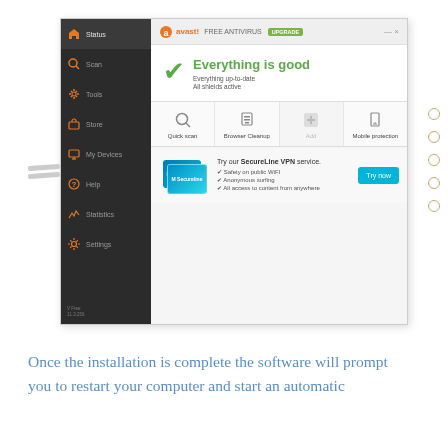[Figure (screenshot): Avast Free Antivirus application window showing 'Everything is good' status screen with green checkmark, sidebar navigation (Status, Scan, Tools, Store, My Devices, Help, Statistics, Settings), quick action buttons (Quick scan, Browser Cleanup, Add, Mobile protection), and SecureLine VPN promotional section.]
Once the installation is complete the software will prompt you to restart your computer and start an automatic